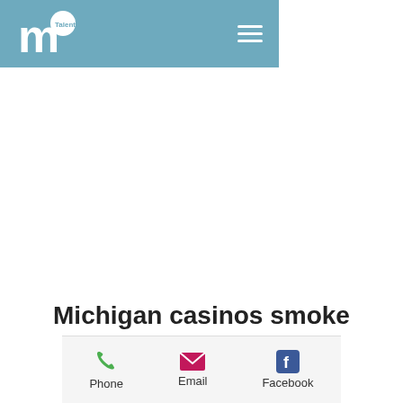mTalents logo and navigation menu
Michigan casinos smoke
Phone | Email | Facebook